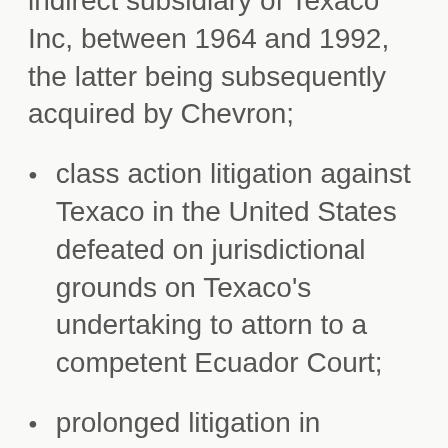indirect subsidiary of Texaco Inc, between 1964 and 1992, the latter being subsequently acquired by Chevron;
class action litigation against Texaco in the United States defeated on jurisdictional grounds on Texaco's undertaking to attorn to a competent Ecuador Court;
prolonged litigation in Ecuador resulting in a $9.5 billion USD judgment against Ch...